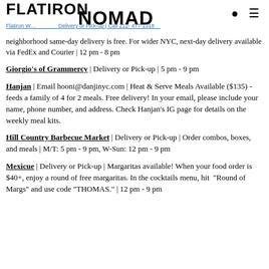FLATIRON NOMAD
Flatiron W... Delivery or Pick-up | Call 212-477-1318 ... neighborhood same-day delivery is free. For wider NYC, next-day delivery available via FedEx and Courier | 12 pm - 8 pm
Giorgio's of Grammercy | Delivery or Pick-up | 5 pm - 9 pm
Hanjan | Email hooni@danjinyc.com | Heat & Serve Meals Available ($135) - feeds a family of 4 for 2 meals. Free delivery! In your email, please include your name, phone number, and address. Check Hanjan's IG page for details on the weekly meal kits.
Hill Country Barbecue Market | Delivery or Pick-up | Order combos, boxes, and meals | M/T: 5 pm - 9 pm, W-Sun: 12 pm - 9 pm
Mexicue | Delivery or Pick-up | Margaritas available! When your food order is $40+, enjoy a round of free margaritas. In the cocktails menu, hit "Round of Margs" and use code "THOMAS." | 12 pm - 9 pm